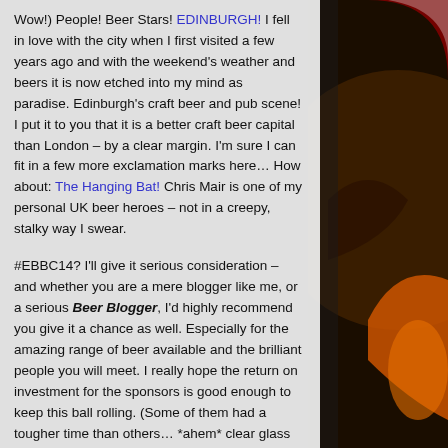Wow!) People! Beer Stars! EDINBURGH! I fell in love with the city when I first visited a few years ago and with the weekend's weather and beers it is now etched into my mind as paradise. Edinburgh's craft beer and pub scene! I put it to you that it is a better craft beer capital than London – by a clear margin. I'm sure I can fit in a few more exclamation marks here… How about: The Hanging Bat! Chris Mair is one of my personal UK beer heroes – not in a creepy, stalky way I swear.
#EBBC14? I'll give it serious consideration – and whether you are a mere blogger like me, or a serious Beer Blogger, I'd highly recommend you give it a chance as well. Especially for the amazing range of beer available and the brilliant people you will meet. I really hope the return on investment for the sponsors is good enough to keep this ball rolling. (Some of them had a tougher time than others… *ahem* clear glass *ahem*.)
[Figure (illustration): Dark brown and orange decorative bat/brewery logo graphic on the right side of the page]